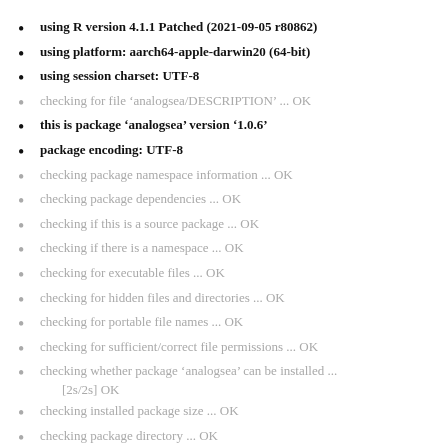using R version 4.1.1 Patched (2021-09-05 r80862)
using platform: aarch64-apple-darwin20 (64-bit)
using session charset: UTF-8
checking for file ‘analogsea/DESCRIPTION’ ... OK
this is package ‘analogsea’ version ‘1.0.6’
package encoding: UTF-8
checking package namespace information ... OK
checking package dependencies ... OK
checking if this is a source package ... OK
checking if there is a namespace ... OK
checking for executable files ... OK
checking for hidden files and directories ... OK
checking for portable file names ... OK
checking for sufficient/correct file permissions ... OK
checking whether package ‘analogsea’ can be installed ... [2s/2s] OK
checking installed package size ... OK
checking package directory ... OK
checking DESCRIPTION meta-information ... OK
checking top-level files ... OK
checking for left-over files ... OK
checking index information ... OK
checking package subdirectories ... OK
checking R files for non-ASCII characters ... OK